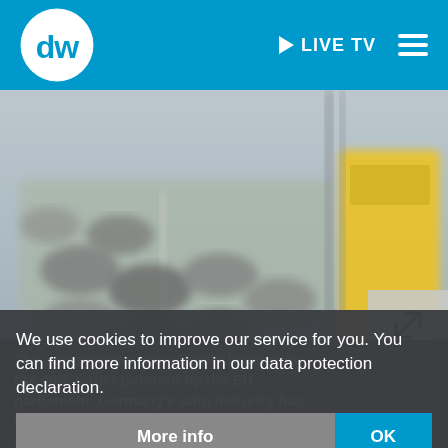DW | LIVE TV
[Figure (photo): Blurred traffic photo showing cars and a yellow tram/bus on a city street, shot from above]
We use cookies to improve our service for you. You can find more information in our data protection declaration.
The compromise was slightly lower than the 40% target pursued by the EU parliament. Germany's auto industry has warned that the move goes against Europe's standing in the auto market and auto-sector jobs.
More info   OK